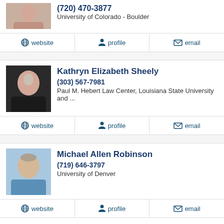(720) 470-3877
University of Colorado - Boulder
website | profile | email
Kathryn Elizabeth Sheely
(303) 567-7981
Paul M. Hebert Law Center, Louisiana State University and ...
website | profile | email
Michael Allen Robinson
(719) 646-3797
University of Denver
website | profile | email